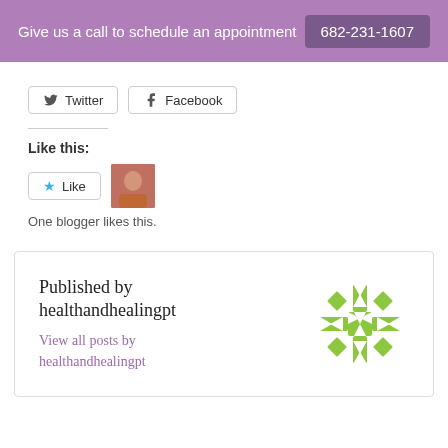Give us a call to schedule an appointment  682-231-1607
[Figure (other): Twitter and Facebook social share buttons]
Like this:
[Figure (other): Like button with star icon and blogger avatar thumbnail]
One blogger likes this.
Published by healthandhealingpt  View all posts by healthandhealingpt